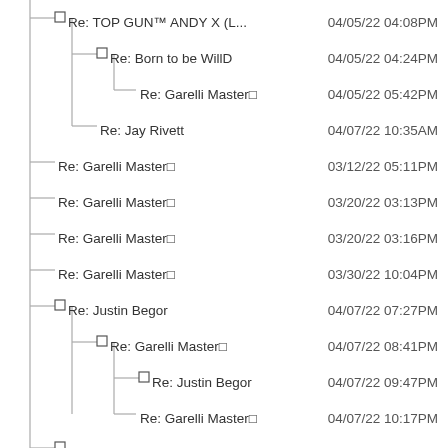Re: TOP GUN™ ANDY X (L...   04/05/22 04:08PM
Re: Born to be WillD   04/05/22 04:24PM
Re: Garelli Master🔲   04/05/22 05:42PM
Re: Jay Rivett   04/07/22 10:35AM
Re: Garelli Master🔲   03/12/22 05:11PM
Re: Garelli Master🔲   03/20/22 03:13PM
Re: Garelli Master🔲   03/20/22 03:16PM
Re: Garelli Master🔲   03/30/22 10:04PM
Re: Justin Begor   04/07/22 07:27PM
Re: Garelli Master🔲   04/07/22 08:41PM
Re: Justin Begor   04/07/22 09:47PM
Re: Garelli Master🔲   04/07/22 10:17PM
Re: Garelli Master🔲   05/01/22 07:51PM
Re: Jay Rivett   05/02/22 10:31AM